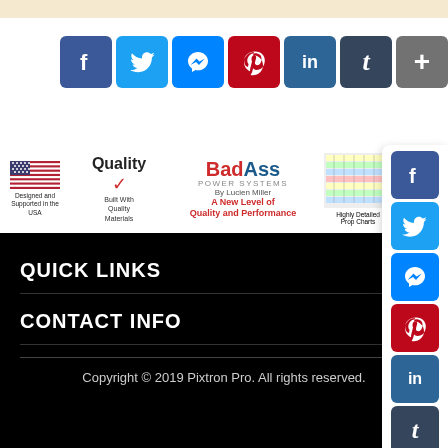[Figure (screenshot): Social share buttons row: Facebook, Twitter, Messenger, Pinterest, LinkedIn, Tumblr, More]
[Figure (screenshot): BadAss Power Systems website footer banner showing flag, quality mark, logo, prop charts, and parts icons]
QUICK LINKS
CONTACT INFO
Copyright © 2019 Pixtron Pro. All rights reserved.
[Figure (screenshot): Side social media icon bar: Facebook, Twitter, Messenger, Pinterest, LinkedIn, Tumblr, More, and scroll-up button]